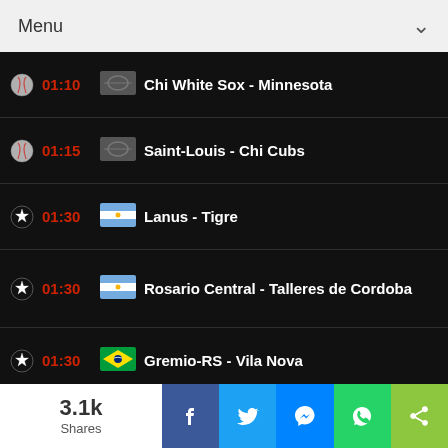Menu
01:10 Chi White Sox - Minnesota
01:15 Saint-Louis - Chi Cubs
01:30 Lanus - Tigre
01:30 Rosario Central - Talleres de Cordoba
01:30 Gremio-RS - Vila Nova
01:30 Bianca Andreescu (W) - Caroline Garcia (W)
01:40 Boyaca Chico - Atletico Cali
3.1k Shares